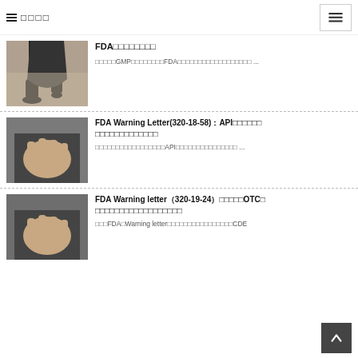■ □□□□
FDA□□□□□□□□
□□□□□GMP□□□□□□□□FDA□□□□□□□□□□□□□□□□□□ ...
FDA Warning Letter(320-18-58)：API□□□□□□ □□□□□□□□□□□□□
□□□□□□□□□□□□□□□□□API□□□□□□□□□□□□□□□ ...
FDA Warning letter（320-19-24）□□□□□OTC□ □□□□□□□□□□□□□□□□□□
□□□FDA□Warning letter□□□□□□□□□□□□□□□□CDE